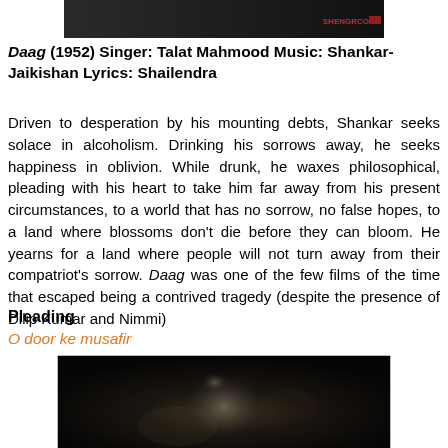[Figure (photo): Black and white photo with dark background, partial upper portion visible]
Daag (1952) Singer: Talat Mahmood Music: Shankar-Jaikishan Lyrics: Shailendra
Driven to desperation by his mounting debts, Shankar seeks solace in alcoholism. Drinking his sorrows away, he seeks happiness in oblivion. While drunk, he waxes philosophical, pleading with his heart to take him far away from his present circumstances, to a world that has no sorrow, no false hopes, to a land where blossoms don't die before they can bloom. He yearns for a land where people will not turn away from their compatriot's sorrow. Daag was one of the few films of the time that escaped being a contrived tragedy (despite the presence of Dilip Kumar and Nimmi)
Pleading
O door ke musafir
[Figure (photo): Black and white photograph of a person's face, dimly lit with bokeh background]